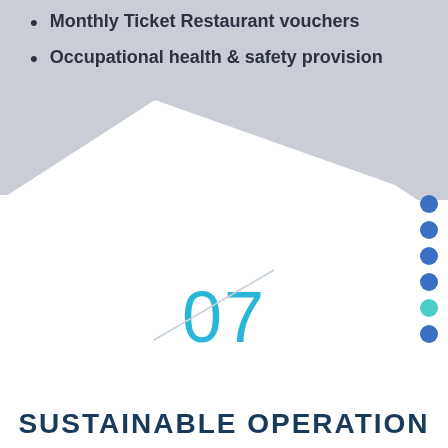Monthly Ticket Restaurant vouchers
Occupational health & safety provision
[Figure (illustration): White diagonal shape overlaying a gray background, creating a triangular white area in the center-right and bottom of the page. Navigation dots on the right side: 5 blue dots and 1 teal/green dot.]
07
SUSTAINABLE OPERATION